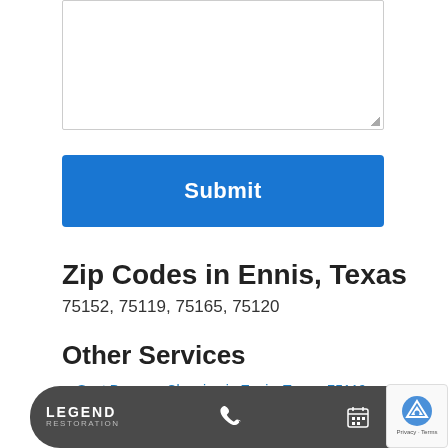[Figure (screenshot): Textarea input box (empty form field)]
[Figure (screenshot): Blue Submit button]
Zip Codes in Ennis, Texas
75152, 75119, 75165, 75120
Other Services
Soot Damage Cleaning in Ennis, Texas, 75119, (817) 769-7289
Water Damage Removal in Ennis, Texas, 75119, (817) 769-7289
Storm Damage Restoration in Ennis, Texas, 75119, (817) 769-7289
[Figure (screenshot): Legend Restoration bottom bar with phone and calendar icons, plus reCAPTCHA badge]